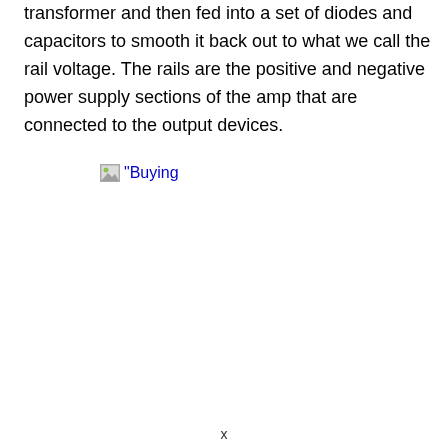transformer and then fed into a set of diodes and capacitors to smooth it back out to what we call the rail voltage. The rails are the positive and negative power supply sections of the amp that are connected to the output devices.
[Figure (other): Broken image placeholder showing alt text "Buying with a small icon"]
x